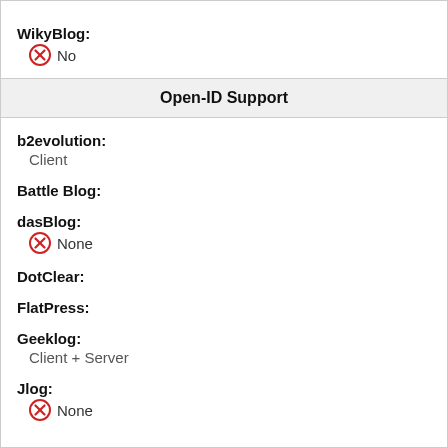WikyBlog: No
Open-ID Support
b2evolution: Client
Battle Blog:
dasBlog: None
DotClear:
FlatPress:
Geeklog: Client + Server
Jlog: None